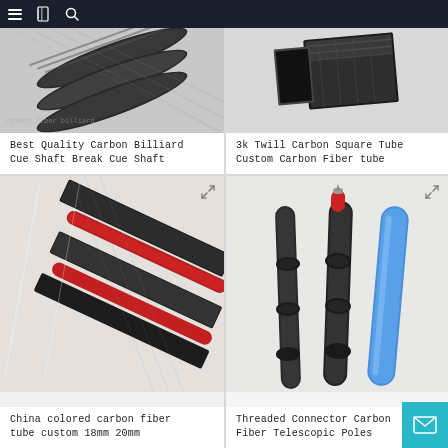Navigation bar with menu, bookmark, and search icons
[Figure (photo): Carbon fiber billiard cue shafts bundled together, showing woven carbon fiber texture, diagonal angle view]
Best Quality Carbon Billiard Cue Shaft Break Cue Shaft
[Figure (photo): 3k twill carbon square tube, black carbon fiber square profile tube shown at angle]
3k Twill Carbon Square Tube Custom Carbon Fiber tube
[Figure (photo): China colored carbon fiber tubes including black and red/colored square and round profiles arranged diagonally]
China colored carbon fiber tube custom 18mm 20mm
[Figure (photo): Threaded connector carbon fiber telescopic poles showing black, red, and blue poles with threaded connectors and metal tip]
Threaded Connector Carbon Fiber Telescopic Poles